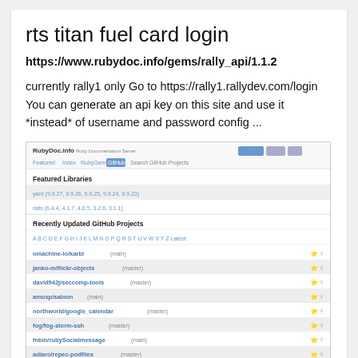rts titan fuel card login
https://www.rubydoc.info/gems/rally_api/1.1.2
currently rally1 only Go to https://rally1.rallydev.com/login You can generate an api key on this site and use it *instead* of username and password config ...
[Figure (screenshot): Screenshot of RubyDoc.info website showing Featured Libraries and Recently Updated GitHub Projects sections with various repository links listed.]
reset goflex home to factory login